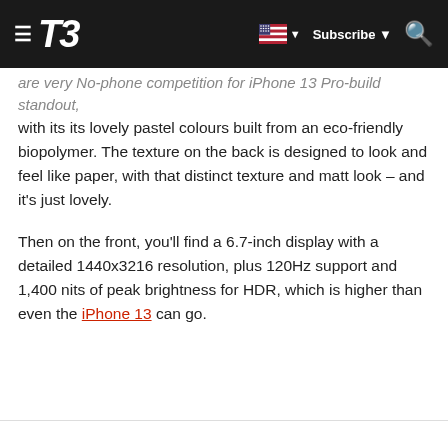T3 | Subscribe
...are very No-phone competition for iPhone 13 Pro-build standout, with its its lovely pastel colours built from an eco-friendly biopolymer. The texture on the back is designed to look and feel like paper, with that distinct texture and matt look – and it's just lovely.
Then on the front, you'll find a 6.7-inch display with a detailed 1440x3216 resolution, plus 120Hz support and 1,400 nits of peak brightness for HDR, which is higher than even the iPhone 13 can go.